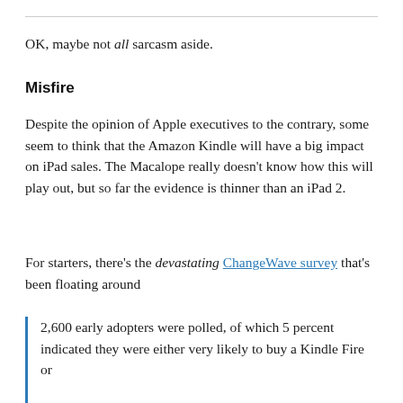OK, maybe not all sarcasm aside.
Misfire
Despite the opinion of Apple executives to the contrary, some seem to think that the Amazon Kindle will have a big impact on iPad sales. The Macalope really doesn't know how this will play out, but so far the evidence is thinner than an iPad 2.
For starters, there's the devastating ChangeWave survey that's been floating around
2,600 early adopters were polled, of which 5 percent indicated they were either very likely to buy a Kindle Fire or